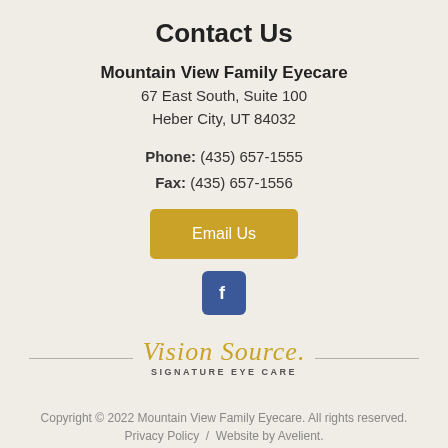Contact Us
Mountain View Family Eyecare
67 East South, Suite 100
Heber City, UT 84032
Phone: (435) 657-1555
Fax: (435) 657-1556
[Figure (other): Gold 'Email Us' button]
[Figure (logo): Facebook logo button (blue square with white 'f')]
[Figure (logo): Vision Source Signature Eye Care logo with horizontal divider lines]
Copyright © 2022 Mountain View Family Eyecare. All rights reserved.
Privacy Policy  /  Website by Avelient.